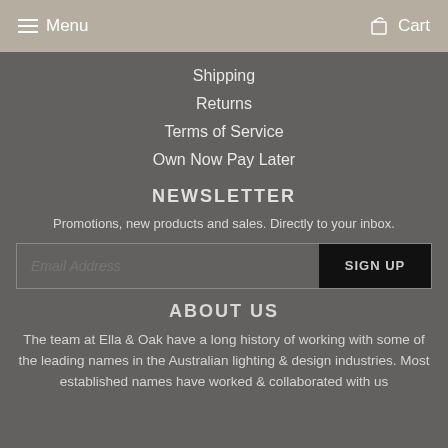Menu  Cart
Shipping
Returns
Terms of Service
Own Now Pay Later
NEWSLETTER
Promotions, new products and sales. Directly to your inbox.
Email Address  SIGN UP
ABOUT US
The team at Ella & Oak have a long history of working with some of the leading names in the Australian lighting & design industries. Most established names have worked & collaborated with us